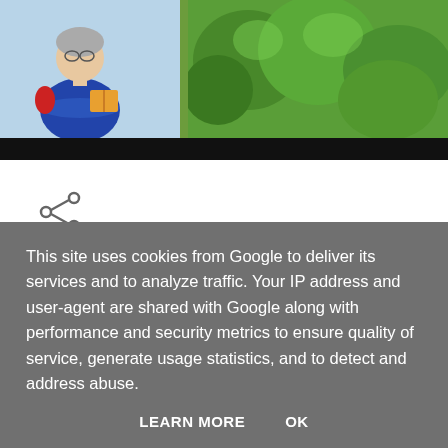[Figure (screenshot): Blog banner with cartoon illustration of elderly woman holding a book on the left, golden-yellow badge with text 'Summer' in the center, and green tree foliage on the right. Black bar at bottom of banner.]
[Figure (illustration): Share icon (less-than symbol with three dots) indicating a share button]
[Figure (illustration): Gray circular avatar/profile icon placeholder]
Enter comment
This site uses cookies from Google to deliver its services and to analyze traffic. Your IP address and user-agent are shared with Google along with performance and security metrics to ensure quality of service, generate usage statistics, and to detect and address abuse.
LEARN MORE   OK